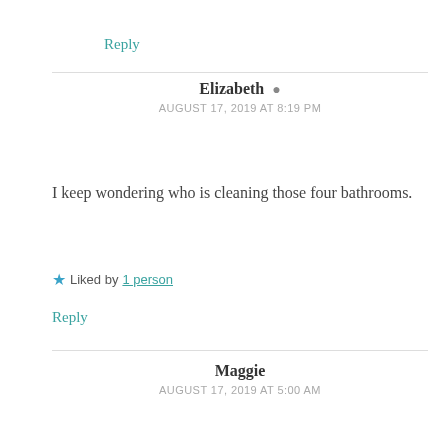Reply
Elizabeth
AUGUST 17, 2019 AT 8:19 PM
I keep wondering who is cleaning those four bathrooms.
Liked by 1 person
Reply
Maggie
AUGUST 17, 2019 AT 5:00 AM